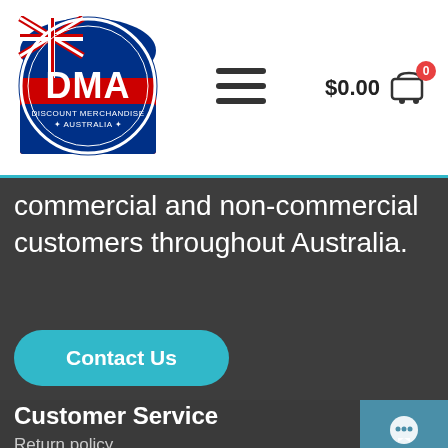[Figure (logo): DMA Discount Merchandise Australia circular logo with Australian flag]
[Figure (other): Hamburger menu icon (three horizontal lines)]
$0.00
[Figure (other): Shopping cart icon with 0 badge]
commercial and non-commercial customers throughout Australia.
[Figure (other): Contact Us button (teal rounded rectangle)]
Customer Service
Return policy
Terms
ABN: 65 274 743 957
[Figure (other): Chat bubble icon widget]
[Figure (other): Phone/call icon widget]